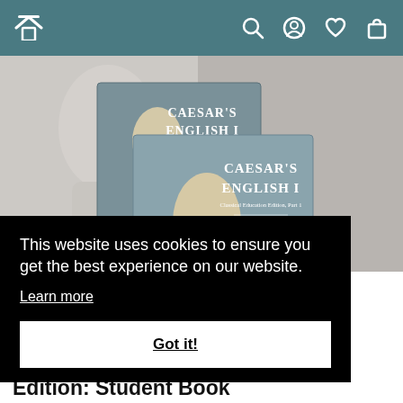Navigation bar with home, search, account, wishlist, and cart icons
[Figure (photo): Two book covers for Caesar's English I: Classical Education Edition, Part 1 and Part 2, featuring a marble statue bust set against a gray background]
This website uses cookies to ensure you get the best experience on our website.
Learn more
Got it!
Edition: Student Book